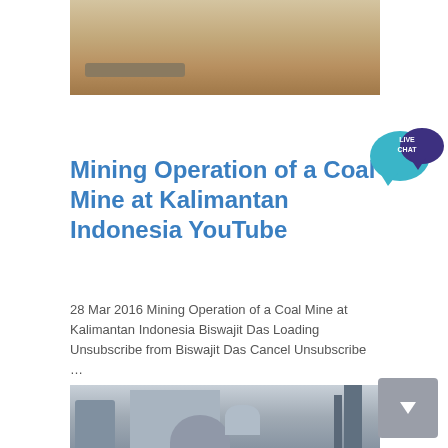[Figure (photo): Top crop of a sandy/dusty mining site with a pipe or log on the ground, yellowish-brown earth tones]
Mining Operation of a Coal Mine at Kalimantan Indonesia YouTube
28 Mar 2016 Mining Operation of a Coal Mine at Kalimantan Indonesia Biswajit Das Loading Unsubscribe from Biswajit Das Cancel Unsubscribe …
[Figure (photo): Industrial coal mine facility with large cylindrical structures, pipes, silos and metal framework against a pale sky — blue-grey toned photo]